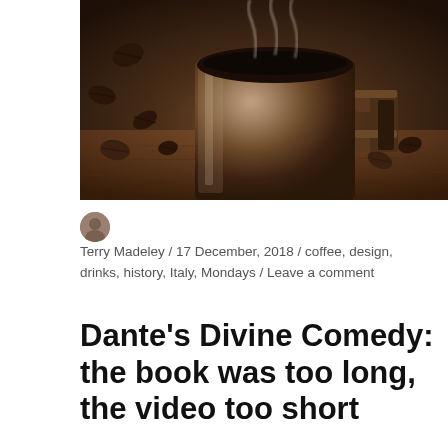[Figure (photo): A steaming metallic/silver coffee mug on a dark wooden surface surrounded by scattered coffee beans. Steam rises from the top of the mug. The mug has a distinctive angular handle on the right side.]
Terry Madeley / 17 December, 2018 / coffee, design, drinks, history, Italy, Mondays / Leave a comment
Dante's Divine Comedy: the book was too long, the video too short